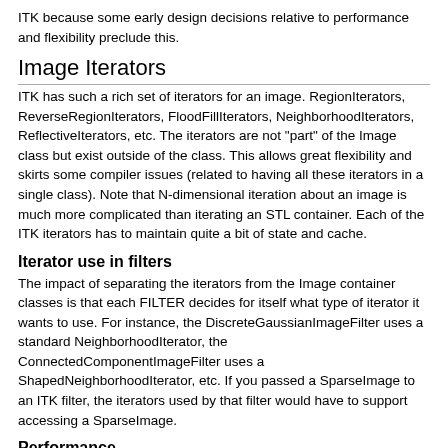ITK because some early design decisions relative to performance and flexibility preclude this.
Image Iterators
ITK has such a rich set of iterators for an image. RegionIterators, ReverseRegionIterators, FloodFillIterators, NeighborhoodIterators, ReflectiveIterators, etc. The iterators are not "part" of the Image class but exist outside of the class. This allows great flexibility and skirts some compiler issues (related to having all these iterators in a single class). Note that N-dimensional iteration about an image is much more complicated than iterating an STL container. Each of the ITK iterators has to maintain quite a bit of state and cache.
Iterator use in filters
The impact of separating the iterators from the Image container classes is that each FILTER decides for itself what type of iterator it wants to use. For instance, the DiscreteGaussianImageFilter uses a standard NeighborhoodIterator, the ConnectedComponentImageFilter uses a ShapedNeighborhoodIterator, etc. If you passed a SparseImage to an ITK filter, the iterators used by that filter would have to support accessing a SparseImage.
Performance